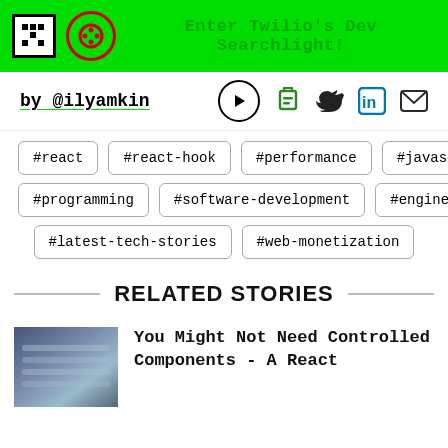Enter Twilio's Dev Searchlight!
by @ilyamkin
#react
#react-hook
#performance
#javascript
#programming
#software-development
#engineering
#latest-tech-stories
#web-monetization
RELATED STORIES
You Might Not Need Controlled Components - A React